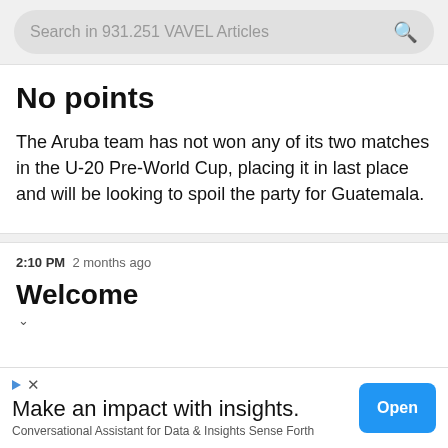Search in 931.251 VAVEL Articles
No points
The Aruba team has not won any of its two matches in the U-20 Pre-World Cup, placing it in last place and will be looking to spoil the party for Guatemala.
2:10 PM  2 months ago
Welcome
Make an impact with insights.
Conversational Assistant for Data & Insights Sense Forth
Open